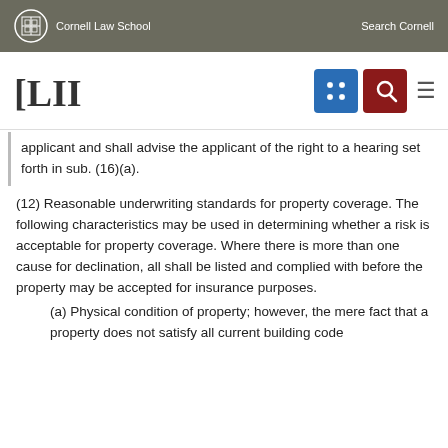Cornell Law School   Search Cornell
[Figure (logo): LII Legal Information Institute logo with navigation icons]
applicant and shall advise the applicant of the right to a hearing set forth in sub. (16)(a).
(12) Reasonable underwriting standards for property coverage. The following characteristics may be used in determining whether a risk is acceptable for property coverage. Where there is more than one cause for declination, all shall be listed and complied with before the property may be accepted for insurance purposes.
(a) Physical condition of property; however, the mere fact that a property does not satisfy all current building code